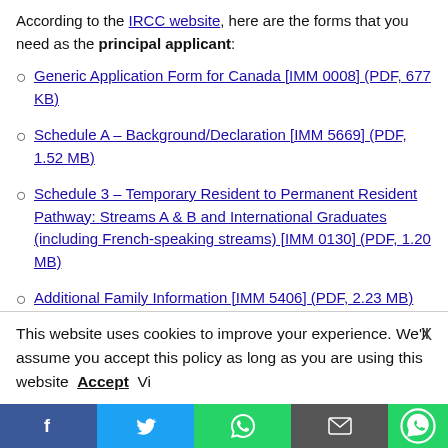According to the IRCC website, here are the forms that you need as the principal applicant:
Generic Application Form for Canada [IMM 0008] (PDF, 677 KB)
Schedule A – Background/Declaration [IMM 5669] (PDF, 1.52 MB)
Schedule 3 – Temporary Resident to Permanent Resident Pathway: Streams A & B and International Graduates (including French-speaking streams) [IMM 0130] (PDF, 1.20 MB)
Additional Family Information [IMM 5406] (PDF, 2.23 MB)
This website uses cookies to improve your experience. We'll assume you accept this policy as long as you are using this website Accept Vi